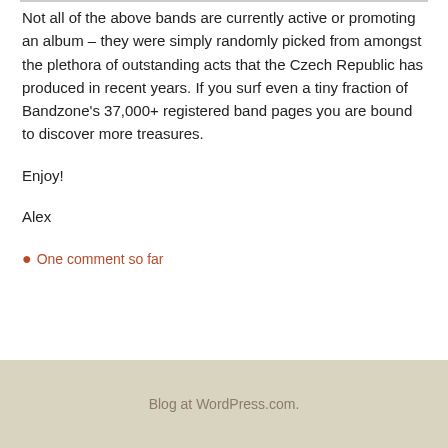Not all of the above bands are currently active or promoting an album – they were simply randomly picked from amongst the plethora of outstanding acts that the Czech Republic has produced in recent years. If you surf even a tiny fraction of Bandzone's 37,000+ registered band pages you are bound to discover more treasures.
Enjoy!
Alex
💬 One comment so far
Blog at WordPress.com.